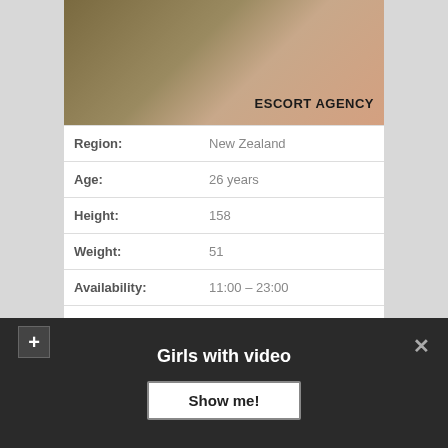[Figure (photo): Escort agency profile photo with 'ESCORT AGENCY' text overlay]
| Region: | New Zealand |
| Age: | 26 years |
| Height: | 158 |
| Weight: | 51 |
| Availability: | 11:00 – 23:00 |
| Double penetration: | No Problem |
Girls with video
Show me!